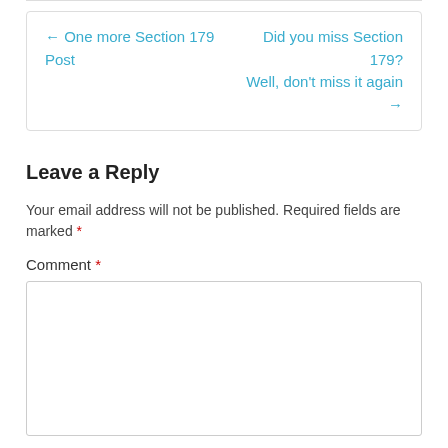← One more Section 179 Post
Did you miss Section 179? Well, don't miss it again →
Leave a Reply
Your email address will not be published. Required fields are marked *
Comment *